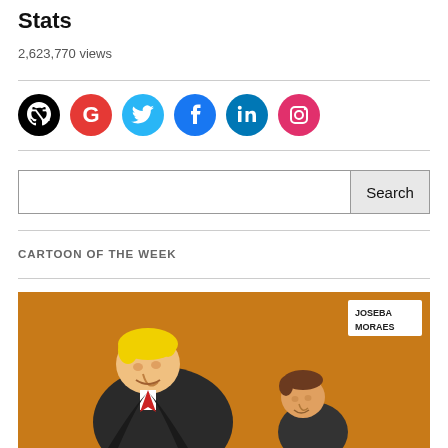Stats
2,623,770 views
[Figure (illustration): Row of six circular social media icon buttons: GitHub (black), Google (red-orange), Twitter (cyan/blue), Facebook (blue), LinkedIn (blue), Instagram (pink/magenta)]
[Figure (illustration): Search bar with text input field and Search button]
CARTOON OF THE WEEK
[Figure (illustration): Cartoon illustration on orange background showing a large figure with blond hair in a dark suit leaning forward, and a smaller brown-haired figure. Artist signature reads Joseba Moraes.]